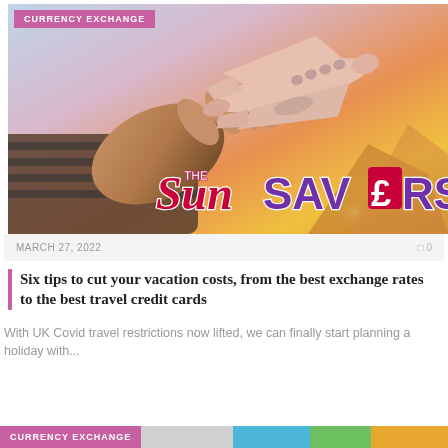[Figure (photo): Hand holding a white model airplane up against a sunset sky with warm orange and purple tones. Sun Savers logo overlaid at the bottom of the image. CURRENCY EXCHANGE tag at top left.]
MARCH 27, 2022
0
Six tips to cut your vacation costs, from the best exchange rates to the best travel credit cards
With UK Covid travel restrictions now lifted, we can finally start planning a holiday with...
CURRENCY EXCHANGE